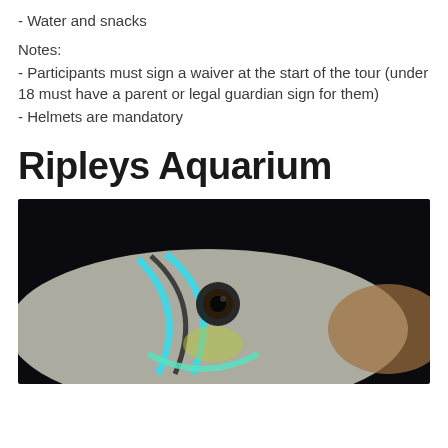- Water and snacks
Notes:
- Participants must sign a waiver at the start of the tour (under 18 must have a parent or legal guardian sign for them)
- Helmets are mandatory
Ripleys Aquarium
[Figure (photo): Close-up photograph of a fish with blue and dark stripes around its eye area, with a dark background and brownish fin visible on the right side.]